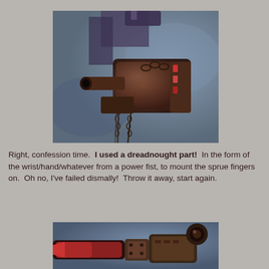[Figure (photo): Close-up photograph of a painted Warhammer miniature showing a mechanical wrist/hand assembly from a dreadnought, with a power fist and chains, heavily weathered in rust and dark metallic tones.]
Right, confession time.  I used a dreadnought part!  In the form of the wrist/hand/whatever from a power fist, to mount the sprue fingers on.  Oh no, I've failed dismally!  Throw it away, start again.
[Figure (photo): Close-up photograph of painted Warhammer miniature parts showing red and rust-colored mechanical limbs/weapons with bolts and weathering effects.]